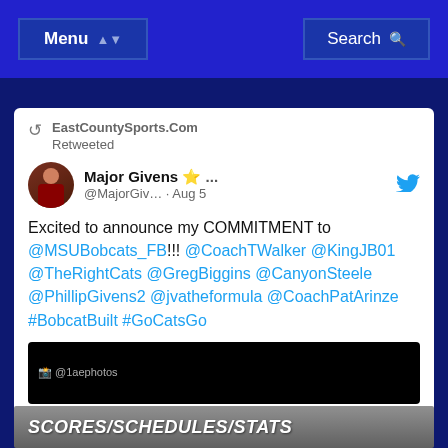Menu | Search
EastCountySports.Com Retweeted
Major Givens ⭐ ... @MajorGiv… · Aug 5
Excited to announce my COMMITMENT to @MSUBobcats_FB!!! @CoachTWalker @KingJB01 @TheRightCats @GregBiggins @CanyonSteele @PhillipGivens2 @jvatheformula @CoachPatArinze #BobcatBuilt #GoCatsGo
[Figure (photo): Black image thumbnail with @1aephotos label]
SCORES/SCHEDULES/STATS